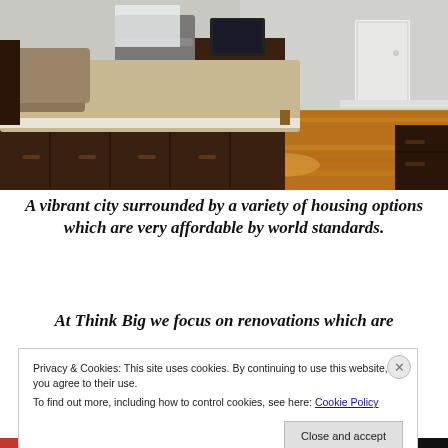[Figure (photo): Interior bedroom photo showing a large bed with tan/beige bedding on a dark wooden platform frame with drawers, hardwood floors, a treadmill and TV dresser in the background, and a white door.]
A vibrant city surrounded by a variety of housing options which are very affordable by world standards.
At Think Big we focus on renovations which are
Privacy & Cookies: This site uses cookies. By continuing to use this website, you agree to their use.
To find out more, including how to control cookies, see here: Cookie Policy
Close and accept